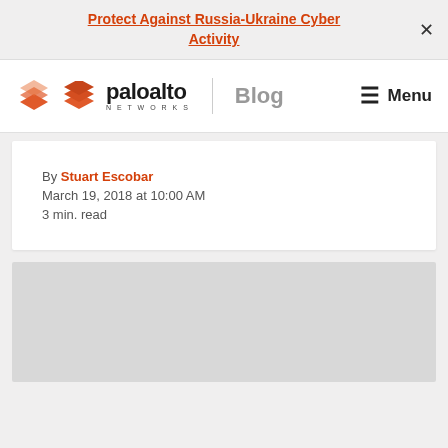Protect Against Russia-Ukraine Cyber Activity
[Figure (logo): Palo Alto Networks Blog logo with hamburger menu]
By Stuart Escobar
March 19, 2018 at 10:00 AM
3 min. read
[Figure (photo): Gray image placeholder area]